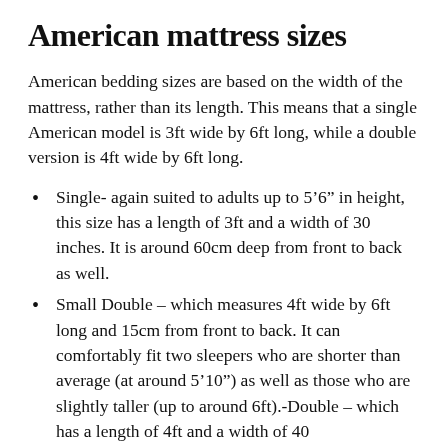American mattress sizes
American bedding sizes are based on the width of the mattress, rather than its length. This means that a single American model is 3ft wide by 6ft long, while a double version is 4ft wide by 6ft long.
Single- again suited to adults up to 5’6” in height, this size has a length of 3ft and a width of 30 inches. It is around 60cm deep from front to back as well.
Small Double – which measures 4ft wide by 6ft long and 15cm from front to back. It can comfortably fit two sleepers who are shorter than average (at around 5’10”) as well as those who are slightly taller (up to around 6ft).-Double – which has a length of 4ft and a width of 40